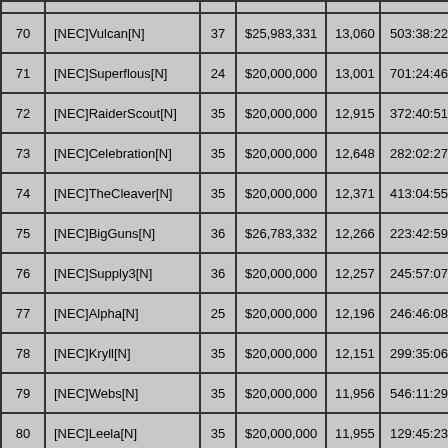| # | Name |  | Prize | Score | Time |  |
| --- | --- | --- | --- | --- | --- | --- |
| 70 | [NEC]Vulcan[N] | 37 | $25,983,331 | 13,060 | 503:38:22 | 116 |
| 71 | [NEC]Superflous[N] | 24 | $20,000,000 | 13,001 | 701:24:46 | 69 |
| 72 | [NEC]RaiderScout[N] | 35 | $20,000,000 | 12,915 | 372:40:51 | 277 |
| 73 | [NEC]Celebration[N] | 35 | $20,000,000 | 12,648 | 282:02:27 | 75 |
| 74 | [NEC]TheCleaver[N] | 35 | $20,000,000 | 12,371 | 413:04:55 | 77 |
| 75 | [NEC]BigGuns[N] | 36 | $26,783,332 | 12,266 | 223:42:59 | 138 |
| 76 | [NEC]Supply3[N] | 36 | $20,000,000 | 12,257 | 245:57:07 | 140 |
| 77 | [NEC]Alpha[N] | 25 | $20,000,000 | 12,196 | 246:46:08 | 12 |
| 78 | [NEC]Kryll[N] | 35 | $20,000,000 | 12,151 | 299:35:06 | 115 |
| 79 | [NEC]Webs[N] | 35 | $20,000,000 | 11,956 | 546:11:29 | 73 |
| 80 | [NEC]Leela[N] | 35 | $20,000,000 | 11,955 | 129:45:23 | 99 |